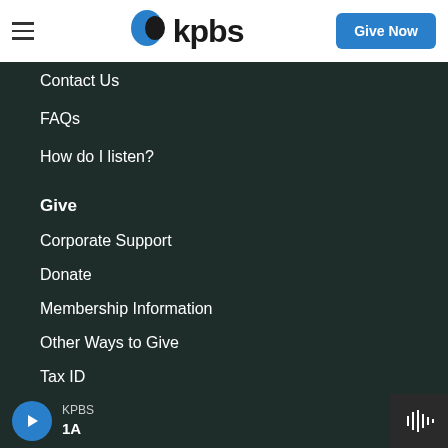KPBS | Give Now
Contact Us
FAQs
How do I listen?
Give
Corporate Support
Donate
Membership Information
Other Ways to Give
Tax ID
KPBS 1A